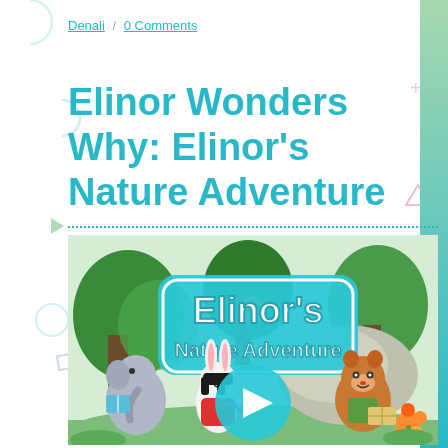Denali / 0 Comments
Elinor Wonders Why: Elinor's Nature Adventure
[Figure (screenshot): Screenshot of the 'Elinor's Nature Adventure' game/video showing animated cartoon characters: an elephant holding a book, a rabbit girl in a red dress, and a chipmunk holding a box, in a forest setting with a teal play button overlay. Title reads Elinor's Nature Adventure.]